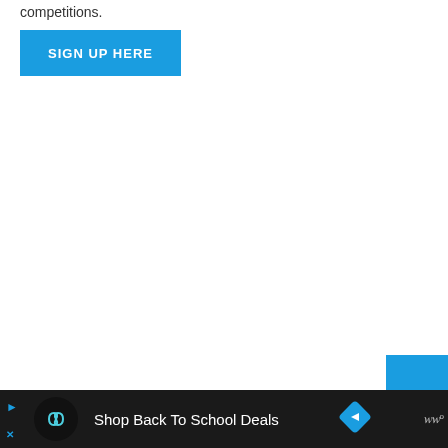competitions.
[Figure (other): Blue 'SIGN UP HERE' button]
[Figure (other): Small blue square in bottom-right area of main content]
Shop Back To School Deals  (advertisement bar with icons)